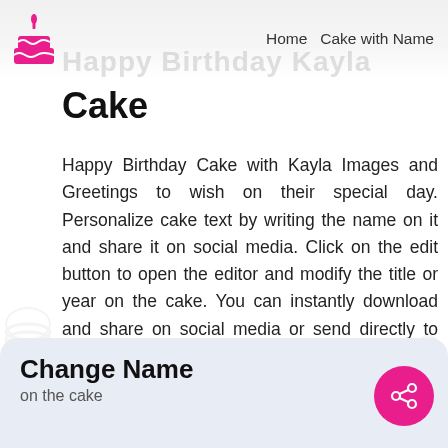Home  Cake with Name
Happy Birthday Kayla
Cake
Happy Birthday Cake with Kayla Images and Greetings to wish on their special day. Personalize cake text by writing the name on it and share it on social media. Click on the edit button to open the editor and modify the title or year on the cake. You can instantly download and share on social media or send directly to the birthday boy or girl.
Change Name
on the cake